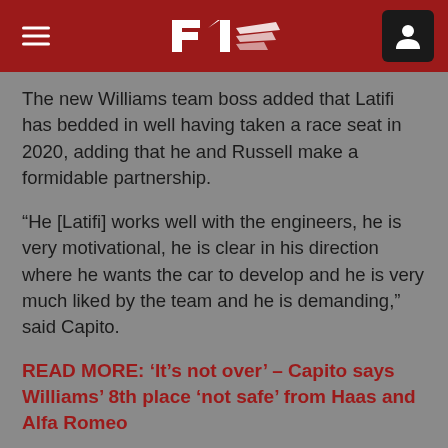F1 Header Navigation
The new Williams team boss added that Latifi has bedded in well having taken a race seat in 2020, adding that he and Russell make a formidable partnership.
“He [Latifi] works well with the engineers, he is very motivational, he is clear in his direction where he wants the car to develop and he is very much liked by the team and he is demanding,” said Capito.
READ MORE: ‘It’s not over’ – Capito says Williams’ 8th place ‘not safe’ from Haas and Alfa Romeo
“So I think also he learned a lot with George as they worked together, they spent a lot of time together on and off the track so it’s a fantastic relationship. So, I’m sure by the end of the season, Nicky will be in the position where he can lead the team.”